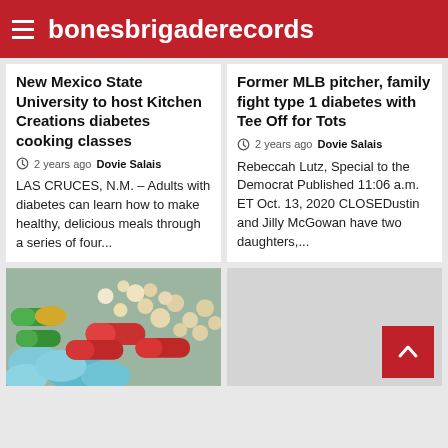bonesbrigaderecords
New Mexico State University to host Kitchen Creations diabetes cooking classes
2 years ago  Dovie Salais
LAS CRUCES, N.M. – Adults with diabetes can learn how to make healthy, delicious meals through a series of four...
Former MLB pitcher, family fight type 1 diabetes with Tee Off for Tots
2 years ago  Dovie Salais
Rebeccah Lutz, Special to the Democrat Published 11:06 a.m. ET Oct. 13, 2020 CLOSEDustin and Jilly McGowan have two daughters,...
[Figure (photo): Colorful assortment of pills and capsules including blue tablets, red capsules, and round beige pills]
[Figure (other): Gray card with red scroll-to-top button containing a white chevron arrow]